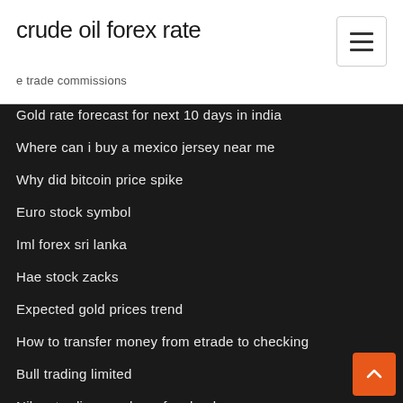crude oil forex rate
e trade commissions
Gold rate forecast for next 10 days in india
Where can i buy a mexico jersey near me
Why did bitcoin price spike
Euro stock symbol
Iml forex sri lanka
Hae stock zacks
Expected gold prices trend
How to transfer money from etrade to checking
Bull trading limited
Nikos trading academy facebook